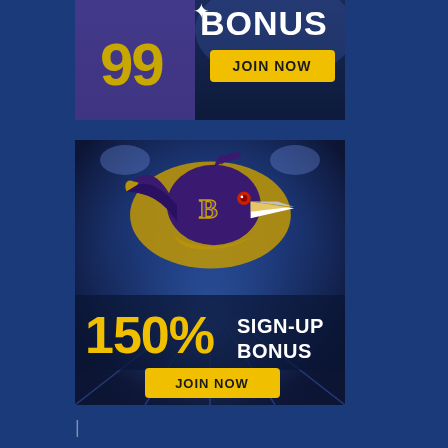[Figure (infographic): Top advertisement banner: Football player wearing jersey number 99 in purple uniform, with 'BONUS' text in white large font and a yellow 'JOIN NOW' button, on a blue/dark background]
[Figure (infographic): Second advertisement banner: Baltimore Ravens NFL team logo (raven head with 'B' letter, in purple and gold), with '150% SIGN-UP BONUS' text in gold/white and a yellow 'JOIN NOW' button, stadium background]
|